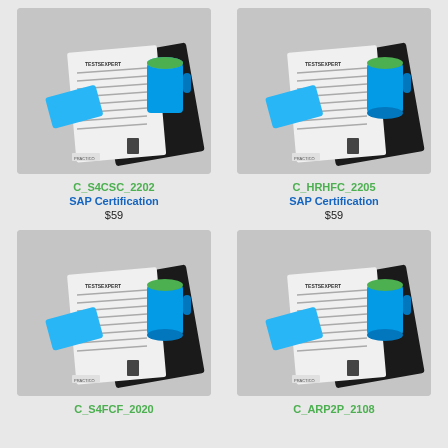[Figure (photo): Product photo of SAP certification study kit including papers, black notebook, blue mug and blue card]
C_S4CSC_2202
SAP Certification
$59
[Figure (photo): Product photo of SAP certification study kit including papers, black notebook, green mug and blue card]
C_HRHFC_2205
SAP Certification
$59
[Figure (photo): Product photo of SAP certification study kit including papers, black notebook, green mug and blue card]
C_S4FCF_2020
[Figure (photo): Product photo of SAP certification study kit including papers, black notebook, green mug and blue card]
C_ARP2P_2108